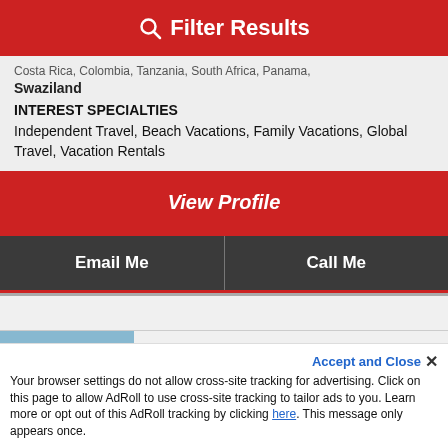Filter Results
Costa Rica, Colombia, Tanzania, South Africa, Panama, Swaziland
INTEREST SPECIALTIES
Independent Travel, Beach Vacations, Family Vacations, Global Travel, Vacation Rentals
View Profile
Email Me
Call Me
KIM GERVAIS
Ajax, ON
Explore the World Travel an Independ...
Nexion CA, a TL Network Affiliate A...
Accept and Close ✕
Your browser settings do not allow cross-site tracking for advertising. Click on this page to allow AdRoll to use cross-site tracking to tailor ads to you. Learn more or opt out of this AdRoll tracking by clicking here. This message only appears once.